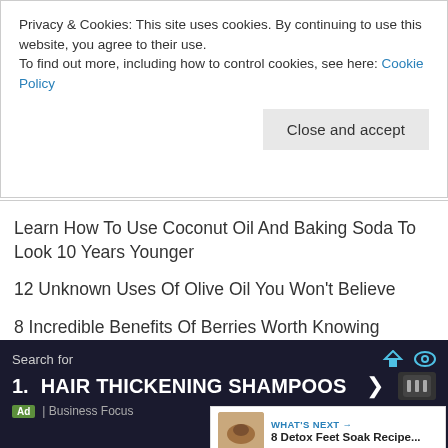Privacy & Cookies: This site uses cookies. By continuing to use this website, you agree to their use.
To find out more, including how to control cookies, see here: Cookie Policy
Close and accept
Learn How To Use Coconut Oil And Baking Soda To Look 10 Years Younger
12 Unknown Uses Of Olive Oil You Won't Believe
8 Incredible Benefits Of Berries Worth Knowing
9 Secret Home Remedies For Sagging Skin That Works
Honey And Cinnamon Face Mask Benefits
How To Get Fair Skin Naturally At Home Fast Using 5
WHAT'S NEXT → 8 Detox Feet Soak Recipe...
Search for
1. HAIR THICKENING SHAMPOOS ›
Ad | Business Focus